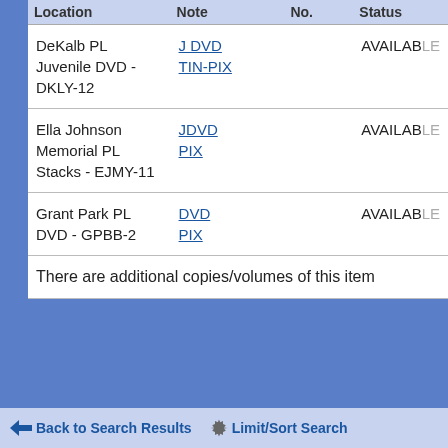| Location | Note | No. | Status |
| --- | --- | --- | --- |
| DeKalb PL Juvenile DVD - DKLY-12 | J DVD TIN-PIX |  | AVAILABLE |
| Ella Johnson Memorial PL Stacks - EJMY-11 | JDVD PIX |  | AVAILABLE |
| Grant Park PL DVD - GPBB-2 | DVD PIX |  | AVAILABLE |
| There are additional copies/volumes of this item |  |  |  |
Back to Search Results   Limit/Sort Search